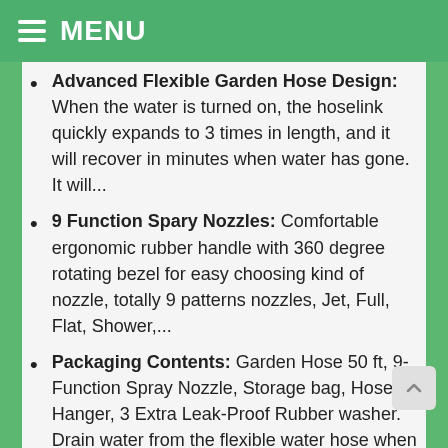MENU
Advanced Flexible Garden Hose Design: When the water is turned on, the hoselink quickly expands to 3 times in length, and it will recover in minutes when water has gone. It will...
9 Function Spary Nozzles: Comfortable ergonomic rubber handle with 360 degree rotating bezel for easy choosing kind of nozzle, totally 9 patterns nozzles, Jet, Full, Flat, Shower,...
Packaging Contents: Garden Hose 50 ft, 9-Function Spray Nozzle, Storage bag, Hose Hanger, 3 Extra Leak-Proof Rubber washer. Drain water from the flexible water hose when not in...
Rich sizes and 100% Guarantee: FancoYard offer 4 sizes for choosing, 25ft, 50ft, 75ft, 100ft, you can choose the ideal...